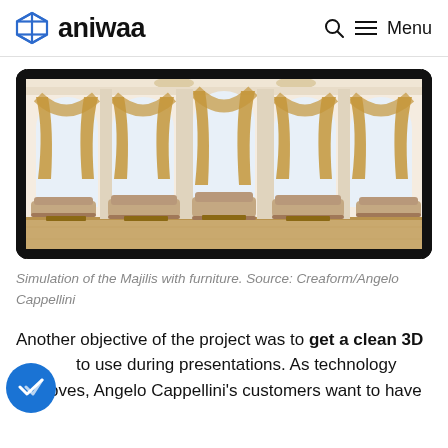aniwaa    Search    Menu
[Figure (photo): Simulation of a grand reception room (Majilis) with ornate arched windows, gold curtains, and upholstered seating arranged along the walls. Shown on a smartphone screen.]
Simulation of the Majilis with furniture. Source: Creaform/Angelo Cappellini
Another objective of the project was to get a clean 3D model to use during presentations. As technology improves, Angelo Cappellini's customers want to have